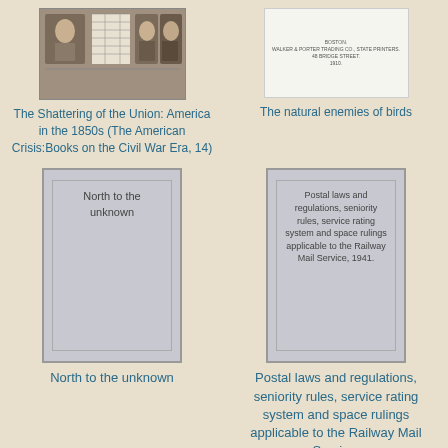[Figure (photo): Book cover showing three portrait photographs of historical figures alongside a table/chart]
The Shattering of the Union: America in the 1850s (The American Crisis:Books on the Civil War Era, 14)
[Figure (photo): Book cover with white background showing small printed text]
The natural enemies of birds
[Figure (photo): Gray book cover with text 'North to the unknown']
North to the unknown
[Figure (photo): Gray book cover with text about postal laws and regulations]
Postal laws and regulations, seniority rules, service rating system and space rulings applicable to the Railway Mail Service, 1941.